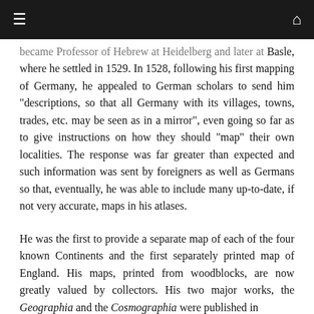≡  🏠
became Professor of Hebrew at Heidelberg and later at Basle, where he settled in 1529. In 1528, following his first mapping of Germany, he appealed to German scholars to send him "descriptions, so that all Germany with its villages, towns, trades, etc. may be seen as in a mirror", even going so far as to give instructions on how they should "map" their own localities. The response was far greater than expected and such information was sent by foreigners as well as Germans so that, eventually, he was able to include many up-to-date, if not very accurate, maps in his atlases.
He was the first to provide a separate map of each of the four known Continents and the first separately printed map of England. His maps, printed from woodblocks, are now greatly valued by collectors. His two major works, the Geographia and the Cosmographia were published in